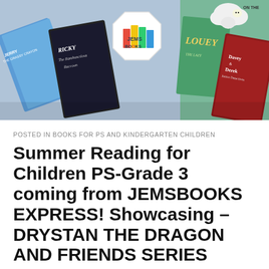[Figure (illustration): JEMS Books banner image showing multiple colorful children's book covers including Ricky the Rambunctious Raccoon, Jerry the Grassy Crayon, Louey the Lazy Lamb, Davey & Derek Junior Detectives, with the JEMS Books logo in the center on a white octagon.]
POSTED IN BOOKS FOR PS AND KINDERGARTEN CHILDREN
Summer Reading for Children PS-Grade 3 coming from JEMSBOOKS EXPRESS! Showcasing – DRYSTAN THE DRAGON AND FRIENDS SERIES BOOK 6: DRAGANA HELPS A FAIRY!